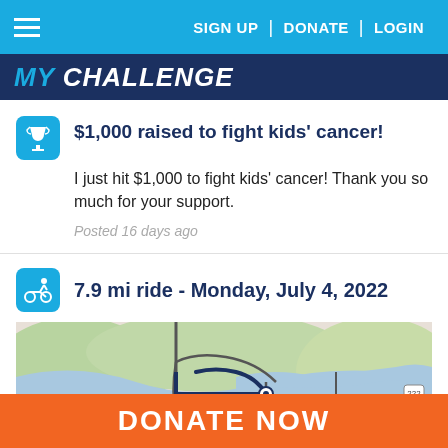SIGN UP | DONATE | LOGIN
MY CHALLENGE
$1,000 raised to fight kids' cancer!
I just hit $1,000 to fight kids' cancer! Thank you so much for your support.
Posted 16 days ago
7.9 mi ride - Monday, July 4, 2022
[Figure (map): Map showing a bike ride route near Deer Creek Picnic Area, with roads and a river visible.]
DONATE NOW